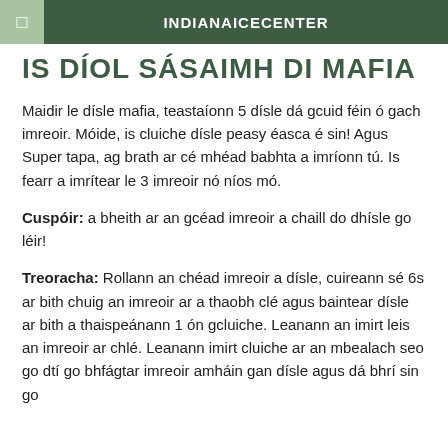INDIANAICECENTER
IS DÍOL SÁSAIMH DI MAFIA
Maidir le díslе mafia, teastaíonn 5 díslе dá gcuid féin ó gach imreoir. Móide, is cluiche díslе peasy éasca é sin! Agus Super tapa, ag brath ar cé mhéad babhta a imríonn tú. Is fearr a imrítear le 3 imreoir nó níos mó.
Cuspóir: a bheith ar an gcéad imreoir a chaill do dhísle go léir!
Treoracha: Rollann an chéad imreoir a díslе, cuireann sé 6s ar bith chuig an imreoir ar a thaobh clé agus baintear díslе ar bith a thaispeánann 1 ón gcluiche. Leanann an imirt leis an imreoir ar chlé. Leanann imirt cluiche ar an mbealach seo go dtí go bhfágtar imreoir amháin gan díslе agus dá bhrí sin go